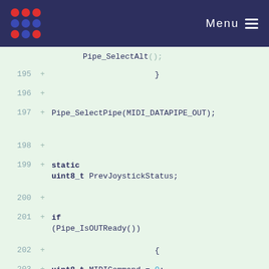Menu
[Figure (screenshot): Code diff view showing lines 195-207 of a C source file. Lines show added code (marked with +) including Pipe_SelectPipe, static uint8_t PrevJoystickStatus, if (Pipe_IsOUTReady()), uint8_t MIDICommand = 0, uint8_t MIDIPitch, uint8_t JoystickStatus = Joystick_GetStatus().]